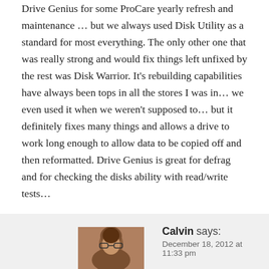Drive Genius for some ProCare yearly refresh and maintenance … but we always used Disk Utility as a standard for most everything. The only other one that was really strong and would fix things left unfixed by the rest was Disk Warrior. It's rebuilding capabilities have always been tops in all the stores I was in… we even used it when we weren't supposed to… but it definitely fixes many things and allows a drive to work long enough to allow data to be copied off and then reformatted. Drive Genius is great for defrag and for checking the disks ability with read/write tests…
[Figure (photo): Avatar photo of commenter Calvin, showing an older man]
Calvin says: December 18, 2012 at 11:33 pm